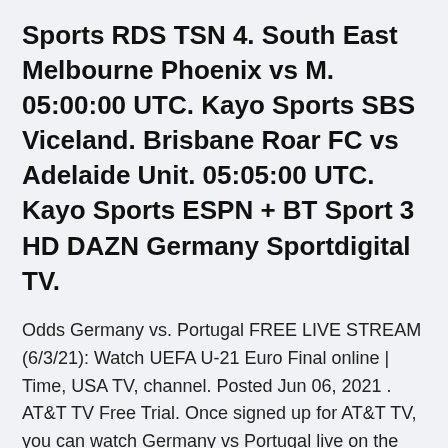Sports RDS TSN 4. South East Melbourne Phoenix vs M. 05:00:00 UTC. Kayo Sports SBS Viceland. Brisbane Roar FC vs Adelaide Unit. 05:05:00 UTC. Kayo Sports ESPN + BT Sport 3 HD DAZN Germany Sportdigital TV.
Odds Germany vs. Portugal FREE LIVE STREAM (6/3/21): Watch UEFA U-21 Euro Final online | Time, USA TV, channel. Posted Jun 06, 2021 . AT&T TV Free Trial. Once signed up for AT&T TV, you can watch Germany vs Portugal live on the AT&T TV app, which is available on your Roku, Roku TV, Amazon Fire TV or Fire Stick, Apple TV You can watch the games for free by signing up for a free trial of fuboTV or Sling. Germany U21 vs Portugal U21 (UEFA European Under-21